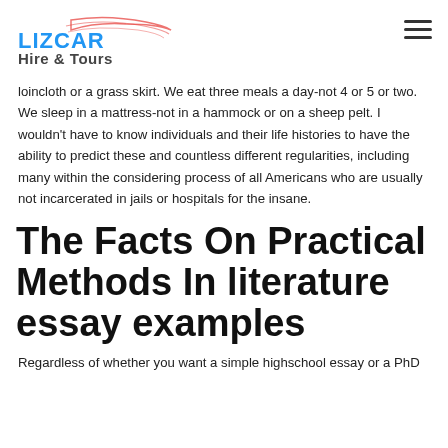LIZCAR Hire & Tours
loincloth or a grass skirt. We eat three meals a day-not 4 or 5 or two. We sleep in a mattress-not in a hammock or on a sheep pelt. I wouldn't have to know individuals and their life histories to have the ability to predict these and countless different regularities, including many within the considering process of all Americans who are usually not incarcerated in jails or hospitals for the insane.
The Facts On Practical Methods In literature essay examples
Regardless of whether you want a simple highschool essay or a PhD